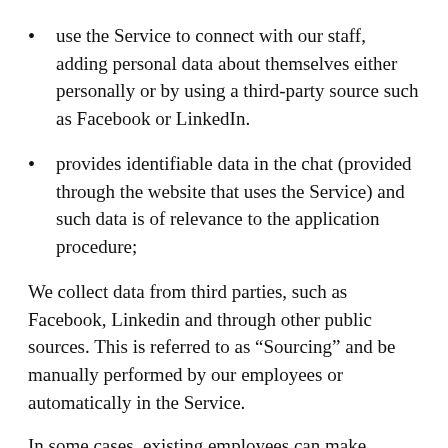use the Service to connect with our staff, adding personal data about themselves either personally or by using a third-party source such as Facebook or LinkedIn.
provides identifiable data in the chat (provided through the website that uses the Service) and such data is of relevance to the application procedure;
We collect data from third parties, such as Facebook, Linkedin and through other public sources. This is referred to as “Sourcing” and be manually performed by our employees or automatically in the Service.
In some cases, existing employees can make recommendations about potential applicants. Such employees will add personal data about such potential applicants. In the cases where this is